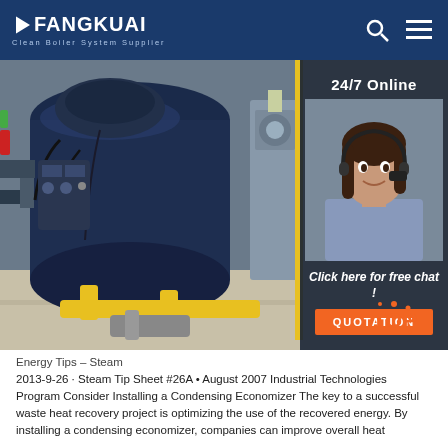FANGKUAI Clean Boiler System Supplier
[Figure (photo): Industrial boiler system with blue cylindrical components, yellow pipes, and floor-mounted equipment in a factory setting. Right side panel shows 24/7 Online customer service agent with 'Click here for free chat!' text and QUOTATION button.]
Energy Tips – Steam
2013-9-26 · Steam Tip Sheet #26A • August 2007 Industrial Technologies Program Consider Installing a Condensing Economizer The key to a successful waste heat recovery project is optimizing the use of the recovered energy. By installing a condensing economizer, companies can improve overall heat